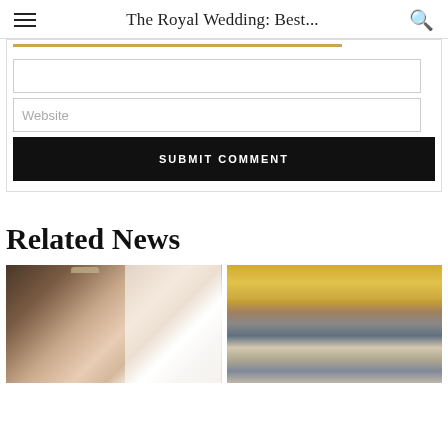The Royal Wedding: Best...
Website
SUBMIT COMMENT
Related News
[Figure (photo): Bridal portrait of Meghan Markle wearing a tiara and veil]
[Figure (photo): Group of people including a woman in a yellow dress walking outside, likely at the Royal Wedding]